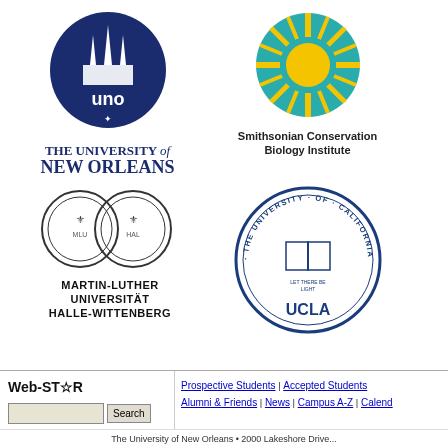[Figure (logo): University of New Orleans circular blue logo with UNO text and church spires, with text THE UNIVERSITY of NEW ORLEANS below]
[Figure (logo): Smithsonian Conservation Biology Institute circular logo with sun on teal background, with text Smithsonian Conservation Biology Institute below]
[Figure (logo): Martin-Luther Universität Halle-Wittenberg double seal logo with MARTIN-LUTHER UNIVERSITÄT HALLE-WITTENBERG text below]
[Figure (logo): UCLA The University of California circular seal in blue with LET THERE BE LIGHT text]
Web-STR
Prospective Students | Accepted Students | Alumni & Friends | News | Campus A-Z | Calend...
Search
The University of New Orleans • 2000 Lakeshore Drive...